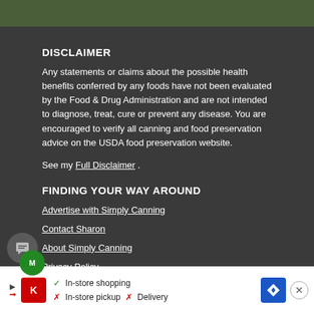DISCLAIMER
Any statements or claims about the possible health benefits conferred by any foods have not been evaluated by the Food & Drug Administration and are not intended to diagnose, treat, cure or prevent any disease. You are encouraged to verify all canning and food preservation advice on the USDA food preservation website.
See my Full Disclaimer .
FINDING YOUR WAY AROUND
Advertise with Simply Canning
Contact Sharon
About Simply Canning
Privacy Policy
Advertising Policies